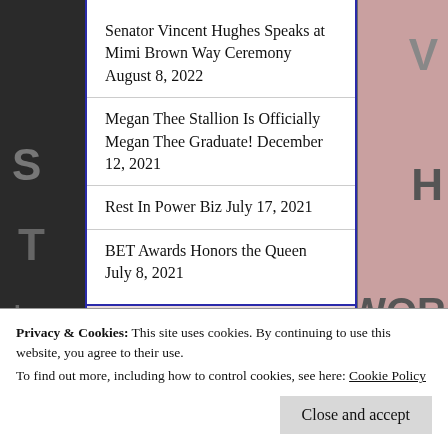Senator Vincent Hughes Speaks at Mimi Brown Way Ceremony August 8, 2022
Megan Thee Stallion Is Officially Megan Thee Graduate! December 12, 2021
Rest In Power Biz July 17, 2021
BET Awards Honors the Queen July 8, 2021
Privacy & Cookies: This site uses cookies. By continuing to use this website, you agree to their use.
To find out more, including how to control cookies, see here: Cookie Policy
Close and accept